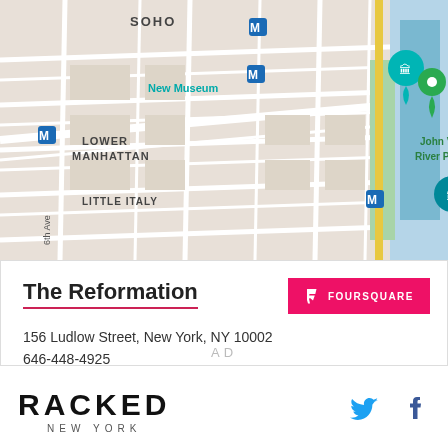[Figure (map): Google Maps view of Lower Manhattan / Little Italy / SOHO area in New York City, showing markers for The Reformation (pink teardrop), Katz's Delicatessen (orange circle), New Museum (teal teardrop), Tenement Museum (teal teardrop), and John V. Lindsay East River Park (green teardrop). Several subway M markers visible. Street names include E Houston St, 6th Ave.]
The Reformation
156 Ludlow Street, New York, NY 10002
646-448-4925
Visit Website
AD
[Figure (logo): RACKED NEW YORK logo in bold uppercase black letters]
[Figure (logo): Twitter bird icon in blue and Facebook f icon in blue, social media links]